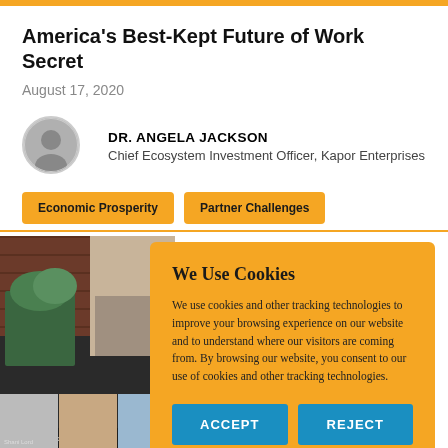America's Best-Kept Future of Work Secret
August 17, 2020
DR. ANGELA JACKSON
Chief Ecosystem Investment Officer, Kapor Enterprises
Economic Prosperity
Partner Challenges
[Figure (screenshot): Screenshot of a video call with multiple participants visible]
We Use Cookies
We use cookies and other tracking technologies to improve your browsing experience on our website and to understand where our visitors are coming from. By browsing our website, you consent to our use of cookies and other tracking technologies.
ACCEPT  REJECT